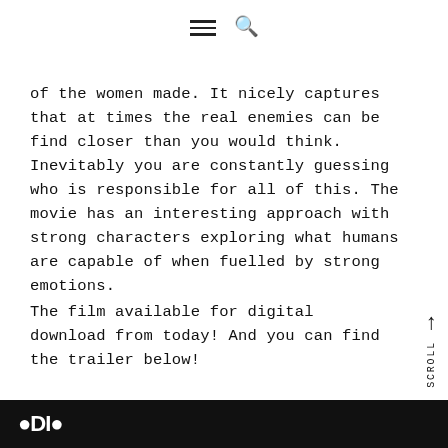≡ 🔍
of the women made. It nicely captures that at times the real enemies can be find closer than you would think. Inevitably you are constantly guessing who is responsible for all of this. The movie has an interesting approach with strong characters exploring what humans are capable of when fuelled by strong emotions.
The film available for digital download from today! And you can find the trailer below!
[Figure (screenshot): Bottom bar showing a dark/black background with a white logo or icon partially visible at the left edge]